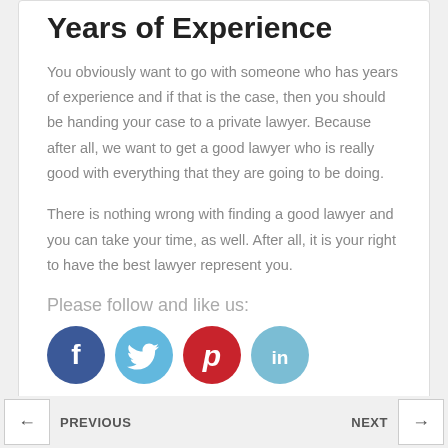Years of Experience
You obviously want to go with someone who has years of experience and if that is the case, then you should be handing your case to a private lawyer. Because after all, we want to get a good lawyer who is really good with everything that they are going to be doing.
There is nothing wrong with finding a good lawyer and you can take your time, as well. After all, it is your right to have the best lawyer represent you.
Please follow and like us:
[Figure (logo): Social media icons: Facebook (blue circle with f), Twitter (light blue circle with bird), Pinterest (red circle with P), LinkedIn (light blue circle with in)]
PREVIOUS | NEXT